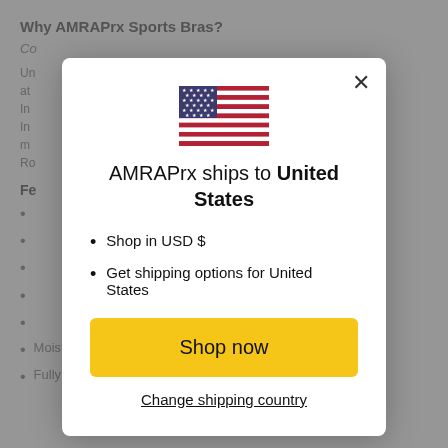Why AMRAPrx Sports Bras?
Co...
Un... at... In... m... Ro...
Fe...
...
...
...
Moisture-wicking fabric (keeps you comfortable and cool)
Fully lined with removable cups that stay in place and don't fold...
[Figure (screenshot): Modal dialog showing AMRAPrx ships to United States with US flag, bullet points 'Shop in USD $' and 'Get shipping options for United States', a yellow 'Shop now' button, and a 'Change shipping country' underlined link. A close (X) button is in the top right corner.]